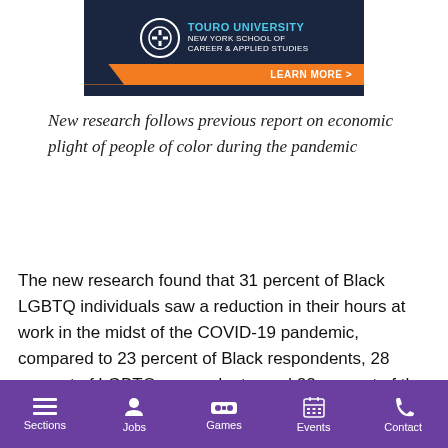[Figure (illustration): Touro University New York School of Career & Applied Studies advertisement banner with dark navy background, circular logo, and orange Learn More button]
New research follows previous report on economic plight of people of color during the pandemic
The new research found that 31 percent of Black LGBTQ individuals saw a reduction in their hours at work in the midst of the COVID-19 pandemic, compared to 23 percent of Black respondents, 28 percent of LGBTQ respondents, and 22 percent of the general sample population. Furthermore, 18 percent of Black LGBTQ respondents said
Sections | Jobs | Games | Events | Contact